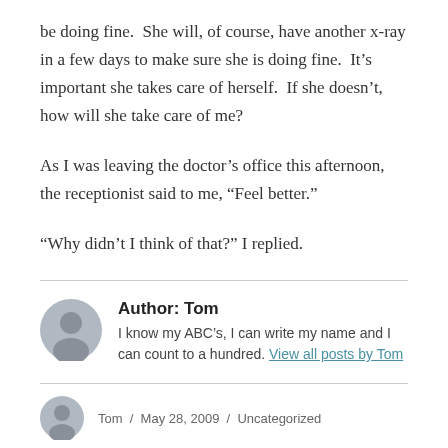be doing fine.  She will, of course, have another x-ray in a few days to make sure she is doing fine.  It's important she takes care of herself.  If she doesn't, how will she take care of me?
As I was leaving the doctor's office this afternoon, the receptionist said to me, “Feel better.”
“Why didn’t I think of that?” I replied.
Author: Tom
I know my ABC’s, I can write my name and I can count to a hundred. View all posts by Tom
Tom  /  May 28, 2009  /  Uncategorized